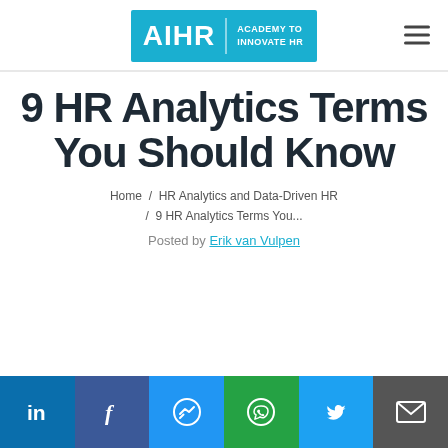AIHR | ACADEMY TO INNOVATE HR
9 HR Analytics Terms You Should Know
Home / HR Analytics and Data-Driven HR / 9 HR Analytics Terms You...
Posted by Erik van Vulpen